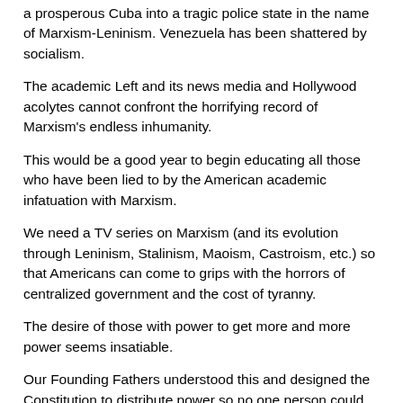a prosperous Cuba into a tragic police state in the name of Marxism-Leninism. Venezuela has been shattered by socialism.
The academic Left and its news media and Hollywood acolytes cannot confront the horrifying record of Marxism's endless inhumanity.
This would be a good year to begin educating all those who have been lied to by the American academic infatuation with Marxism.
We need a TV series on Marxism (and its evolution through Leninism, Stalinism, Maoism, Castroism, etc.) so that Americans can come to grips with the horrors of centralized government and the cost of tyranny.
The desire of those with power to get more and more power seems insatiable.
Our Founding Fathers understood this and designed the Constitution to distribute power so no one person could